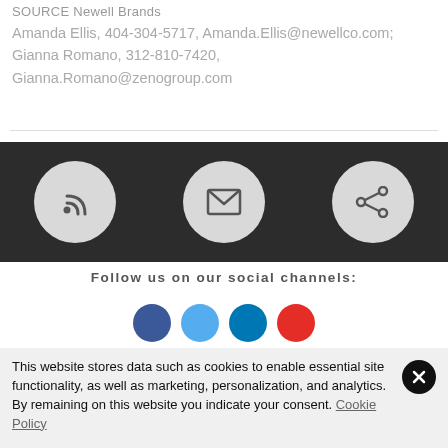SOURCE Newell Brands
Amanda Ellis, 404-304-5717, Amanda.Ellis@newellco.com; Gianna Romano, 312-810-7420, Gianna.Romano@zenogroup.com
[Figure (infographic): Dark banner with three circular icon buttons: RSS/wifi icon, envelope/email icon, and share icon, all on a dark gray/black background]
Follow us on our social channels:
[Figure (infographic): Partial view of four social media circular icon buttons: LinkedIn (blue), Twitter (light blue), another Twitter/social (blue), and YouTube (red)]
This website stores data such as cookies to enable essential site functionality, as well as marketing, personalization, and analytics. By remaining on this website you indicate your consent. Cookie Policy